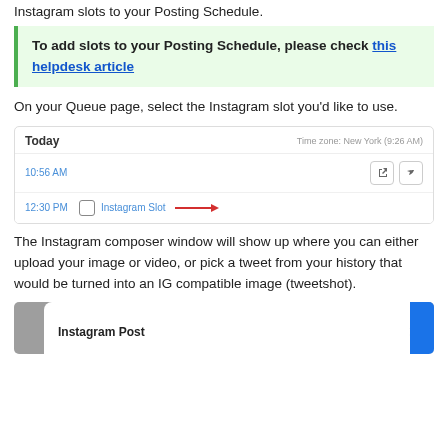Instagram slots to your Posting Schedule.
To add slots to your Posting Schedule, please check this helpdesk article
On your Queue page, select the Instagram slot you'd like to use.
[Figure (screenshot): Queue page screenshot showing 'Today' header with timezone 'New York (9:26 AM)', a 10:56 AM row with action buttons, and a 12:30 PM row labelled 'Instagram Slot' with a red arrow pointing to it.]
The Instagram composer window will show up where you can either upload your image or video, or pick a tweet from your history that would be turned into an IG compatible image (tweetshot).
[Figure (screenshot): Bottom of page showing a modal dialog beginning with 'Instagram Post' header and a close X button, on a gray background with a blue bar on the right.]